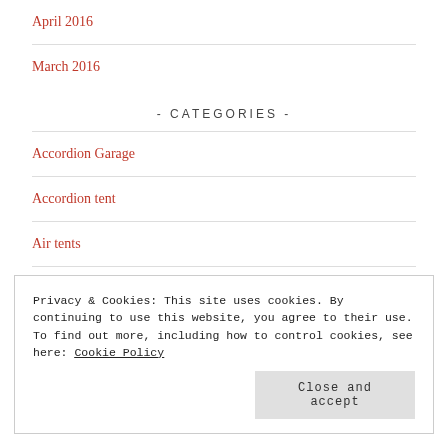April 2016
March 2016
- CATEGORIES -
Accordion Garage
Accordion tent
Air tents
Privacy & Cookies: This site uses cookies. By continuing to use this website, you agree to their use.
To find out more, including how to control cookies, see here: Cookie Policy
Close and accept